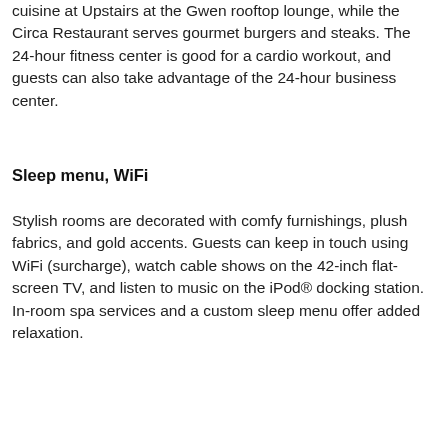Diners can enjoy views of the city with American cuisine at Upstairs at the Gwen rooftop lounge, while the Circa Restaurant serves gourmet burgers and steaks. The 24-hour fitness center is good for a cardio workout, and guests can also take advantage of the 24-hour business center.
Sleep menu, WiFi
Stylish rooms are decorated with comfy furnishings, plush fabrics, and gold accents. Guests can keep in touch using WiFi (surcharge), watch cable shows on the 42-inch flat-screen TV, and listen to music on the iPod® docking station. In-room spa services and a custom sleep menu offer added relaxation.